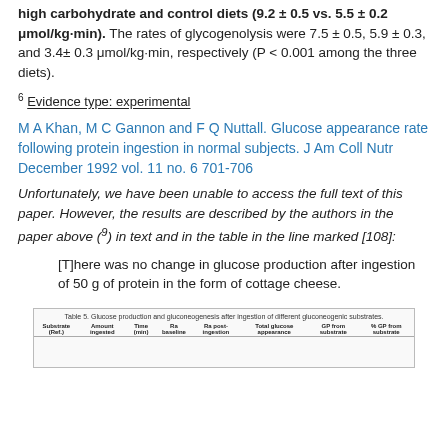high carbohydrate and control diets (9.2 ± 0.5 vs. 5.5 ± 0.2 μmol/kg·min). The rates of glycogenolysis were 7.5 ± 0.5, 5.9 ± 0.3, and 3.4± 0.3 μmol/kg·min, respectively (P < 0.001 among the three diets).
6 Evidence type: experimental
M A Khan, M C Gannon and F Q Nuttall. Glucose appearance rate following protein ingestion in normal subjects. J Am Coll Nutr December 1992 vol. 11 no. 6 701-706
Unfortunately, we have been unable to access the full text of this paper. However, the results are described by the authors in the paper above (⁹) in text and in the table in the line marked [108]:
[T]here was no change in glucose production after ingestion of 50 g of protein in the form of cottage cheese.
[Figure (table-as-image): Table 5. Glucose production and gluconeogenesis after ingestion of different gluconeogenic substrates. Columns: Substrate (Ref.), Amount ingested, Time (min), Ra (baseline), Ra post-ingestion, Total glucose appearance, GP from substrate, % GP from substrate.]